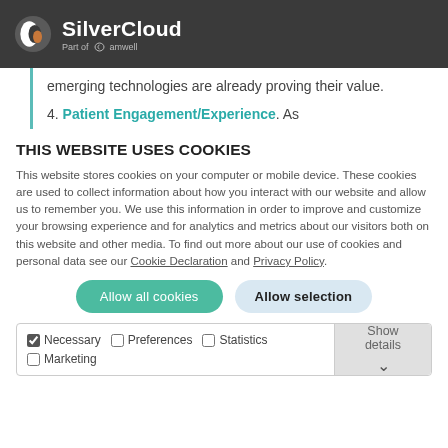SilverCloud — Part of amwell
emerging technologies are already proving their value.
4. Patient Engagement/Experience. As
THIS WEBSITE USES COOKIES
This website stores cookies on your computer or mobile device. These cookies are used to collect information about how you interact with our website and allow us to remember you. We use this information in order to improve and customize your browsing experience and for analytics and metrics about our visitors both on this website and other media. To find out more about our use of cookies and personal data see our Cookie Declaration and Privacy Policy.
Allow all cookies | Allow selection
Necessary | Preferences | Statistics | Marketing | Show details